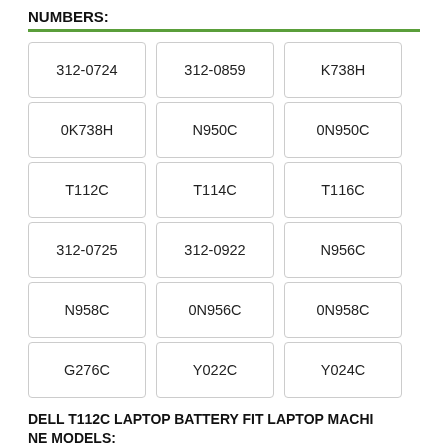NUMBERS:
[Figure (other): Grid of part number badges: 312-0724, 312-0859, K738H, 0K738H, N950C, 0N950C, T112C, T114C, T116C, 312-0725, 312-0922, N956C, N958C, 0N956C, 0N958C, G276C, Y022C, Y024C]
DELL T112C LAPTOP BATTERY FIT LAPTOP MACHINE MODELS:
Dell Vostro 1310 1320 1510 1520 2510 PP36G PP36L